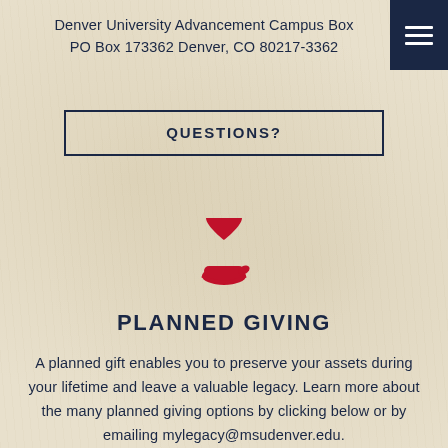Denver University Advancement Campus Box
PO Box 173362 Denver, CO 80217-3362
QUESTIONS?
[Figure (illustration): Red/crimson icon of a hand holding a heart, representing planned giving / charitable donations]
PLANNED GIVING
A planned gift enables you to preserve your assets during your lifetime and leave a valuable legacy. Learn more about the many planned giving options by clicking below or by emailing mylegacy@msudenver.edu.